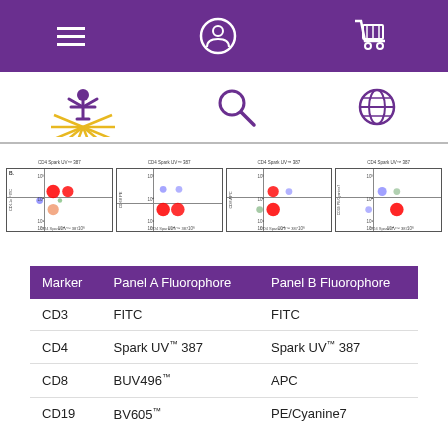Navigation bar with menu, user, and cart icons
[Figure (screenshot): White header bar with stylized human figure/sunburst logo, search icon, and globe icon]
[Figure (other): Flow cytometry scatter plots in two rows showing CD4 Spark UV 387 on x-axis vs CD11c FITC, CD68 PE, CD8 APC, CD19 PE/Cyanine7 on y-axis, with quadrant gates and heat-map colored cell populations]
| Marker | Panel A Fluorophore | Panel B Fluorophore |
| --- | --- | --- |
| CD3 | FITC | FITC |
| CD4 | Spark UV™ 387 | Spark UV™ 387 |
| CD8 | BUV496™ | APC |
| CD19 | BV605™ | PE/Cyanine7 |